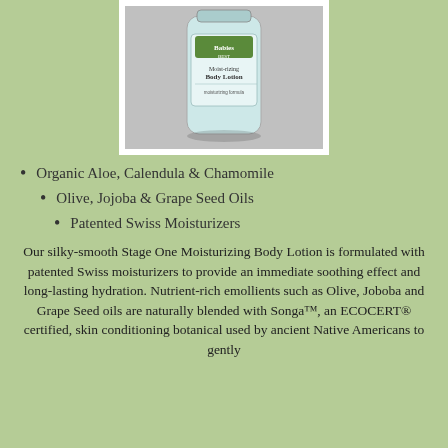[Figure (photo): A bottle of Moisturizing Body Lotion product shown from above against a gray background, with a white-framed photo border.]
Organic Aloe, Calendula & Chamomile
Olive, Jojoba & Grape Seed Oils
Patented Swiss Moisturizers
Our silky-smooth Stage One Moisturizing Body Lotion is formulated with patented Swiss moisturizers to provide an immediate soothing effect and long-lasting hydration. Nutrient-rich emollients such as Olive, Joboba and Grape Seed oils are naturally blended with Songa™, an ECOCERT® certified, skin conditioning botanical used by ancient Native Americans to gently